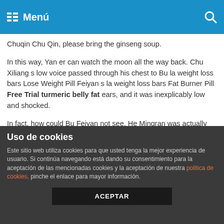Menú
Chuqin Chu Qin, please bring the ginseng soup.
In this way, Yan er can watch the moon all the way back. Chu Xiliang s low voice passed through his chest to Bu la weight loss bars Lose Weight Pill Feiyan s la weight loss bars Fat Burner Pill Free Trial turmeric belly fat ears, and it was inexplicably low and shocked.
In fact, how could Bu Feiyan not see. He Mingran was actually caring about 100% Effective la weight loss bars herself, but, what He Mingran wanted, she couldn t give him, and the tone gave him an addictive hope.
No one knows how happy he was when Bu Feiyan s fingers touched his strongest diet pill in the world wrist lightly.
Uso de cookies
Este sitio web utiliza cookies para que usted tenga la mejor experiencia de usuario. Si continúa navegando está dando su consentimiento para la aceptación de las mencionadas cookies y la aceptación de nuestra politica de cookies, pinche el enlace para mayor información.